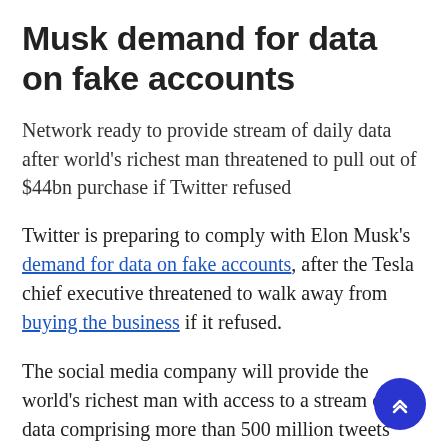Musk demand for data on fake accounts
Network ready to provide stream of daily data after world's richest man threatened to pull out of $44bn purchase if Twitter refused
Twitter is preparing to comply with Elon Musk's demand for data on fake accounts, after the Tesla chief executive threatened to walk away from buying the business if it refused.
The social media company will provide the world's richest man with access to a stream of data comprising more than 500 million tweets posted every day, according to the